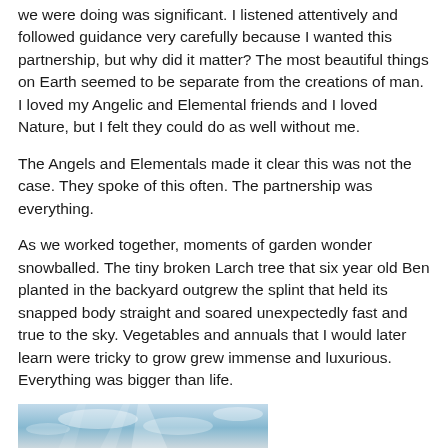we were doing was significant. I listened attentively and followed guidance very carefully because I wanted this partnership, but why did it matter? The most beautiful things on Earth seemed to be separate from the creations of man.  I loved my Angelic and Elemental friends and I loved Nature, but I felt they could do as well without me.
The Angels and Elementals made it clear this was not the case. They spoke of this often. The partnership was everything.
As we worked together, moments of garden wonder snowballed. The tiny broken Larch tree that six year old Ben planted in the backyard outgrew the splint that held its snapped body straight and soared unexpectedly fast and true to the sky. Vegetables and annuals that I would later learn were tricky to grow grew immense and luxurious. Everything was bigger than life.
[Figure (photo): Partial photo at bottom of page showing sky with light beams or clouds, cropped at page edge]